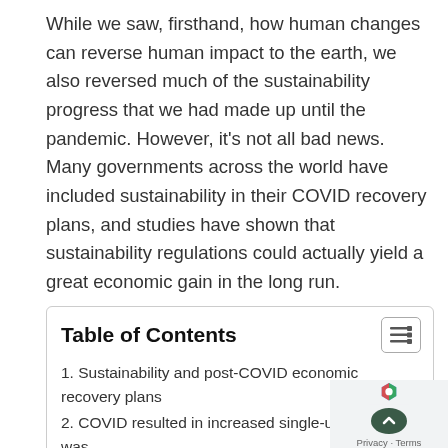While we saw, firsthand, how human changes can reverse human impact to the earth, we also reversed much of the sustainability progress that we had made up until the pandemic. However, it's not all bad news. Many governments across the world have included sustainability in their COVID recovery plans, and studies have shown that sustainability regulations could actually yield a great economic gain in the long run.
Here's how COVID affected sustainability prospects and how you and your company can take one small step today to help reduce waste.
| Table of Contents |
| 1. Sustainability and post-COVID economic recovery plans |
| 2. COVID resulted in increased single-use plastic was[te] |
| 3. Decrease your company's plastic footprint with |